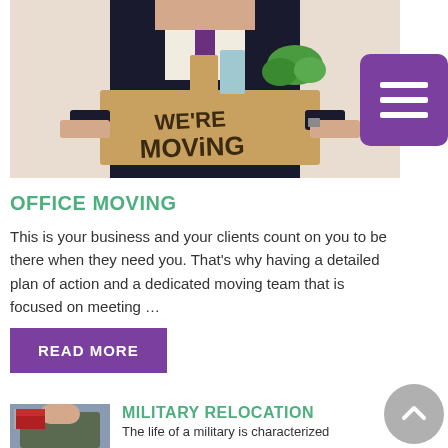[Figure (photo): Person in suit holding a cardboard box labeled 'WE'RE MOVING' with binders and green plant on top]
OFFICE MOVING
This is your business and your clients count on you to be there when they need you. That's why having a detailed plan of action and a dedicated moving team that is focused on meeting …
READ MORE
[Figure (photo): Military person in uniform, partial view at bottom of page]
MILITARY RELOCATION
The life of a military is characterized